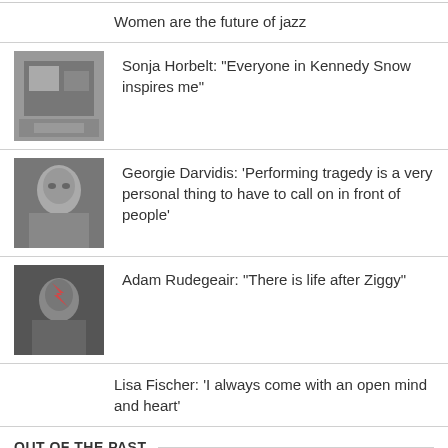Women are the future of jazz
Sonja Horbelt: "Everyone in Kennedy Snow inspires me"
Georgie Darvidis: 'Performing tragedy is a very personal thing to have to call on in front of people'
Adam Rudegeair: "There is life after Ziggy"
Lisa Fischer: 'I always come with an open mind and heart'
OUT OF THE PAST
June 2015
|  |  |  |  |  |  |